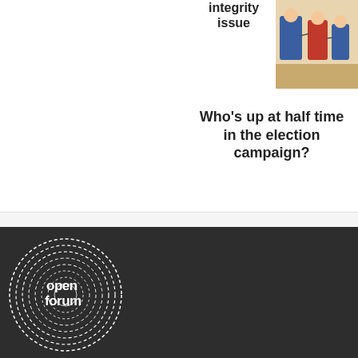integrity issue
[Figure (illustration): Cartoon illustration showing figures with blue and red elements, appearing to be a political/election-themed illustration]
Who’s up at half time in the election campaign?
[Figure (logo): Open Forum logo - white text and concentric circle graphic on dark background reading 'open forum']